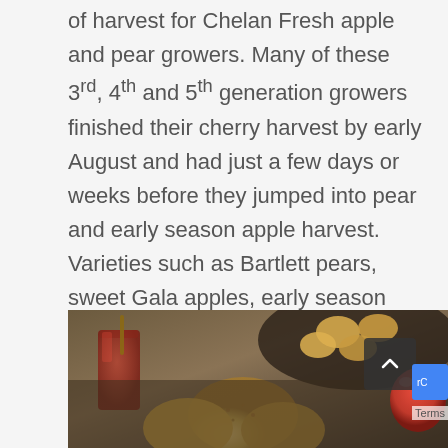of harvest for Chelan Fresh apple and pear growers. Many of these 3rd, 4th and 5th generation growers finished their cherry harvest by early August and had just a few days or weeks before they jumped into pear and early season apple harvest. Varieties such as Bartlett pears, sweet Gala apples, early season Honeycrisp and kid favorite [...]
[Figure (photo): Close-up food photo showing baked goods (scones or biscuits), a glass of red juice or cider, a dark pan with more baked goods, and a red apple in the background, styled on a dark rustic surface.]